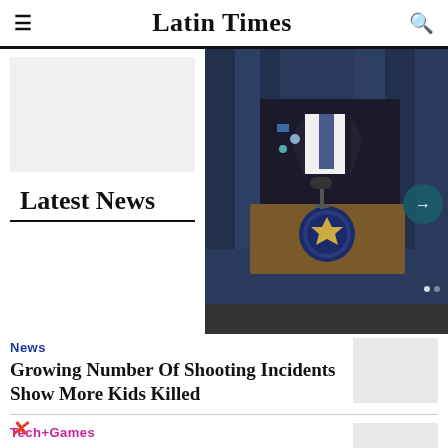Latin Times
[Figure (photo): Man in dark suit speaking at a podium with an official seal, in front of dark blue curtains, with a microphone]
Latest News
News
Growing Number Of Shooting Incidents Show More Kids Killed
Tech+Games
Pinball, Rival Turf! And Congo's Caper